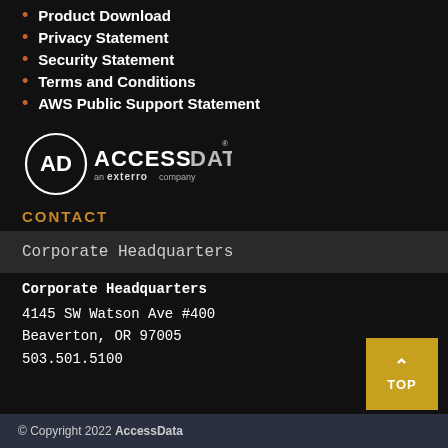Product Download
Privacy Statement
Security Statement
Terms and Conditions
AWS Public Support Statement
[Figure (logo): AccessData an exterro company logo — circular AD emblem with ACCESSDATA wordmark]
CONTACT
Corporate Headquarters
Corporate Headquarters
4145 SW Watson Ave #400
Beaverton, OR 97005
503.501.5100
© Copyright 2022 AccessData